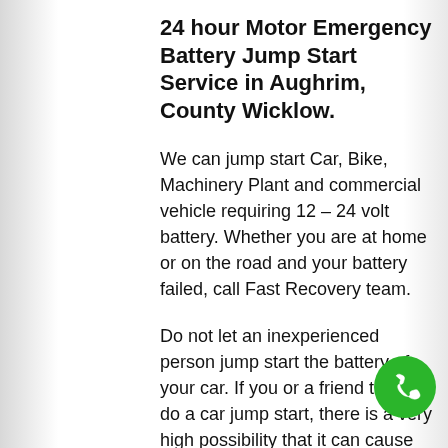24 hour Motor Emergency Battery Jump Start Service in Aughrim, County Wicklow.
We can jump start Car, Bike, Machinery Plant and commercial vehicle requiring 12 – 24 volt battery. Whether you are at home or on the road and your battery failed, call Fast Recovery team.
Do not let an inexperienced person jump start the battery of your car. If you or a friend tries to do a car jump start, there is a very high possibility that it can cause some injury. This is because the car batteries is highly inflammable and even a small spark can cause a serious fire. Our professionals make sure that proper care is taken to ensure that before your car jump start procedure is started the likelihood of your
[Figure (illustration): Green circular phone call button icon in bottom-right corner]